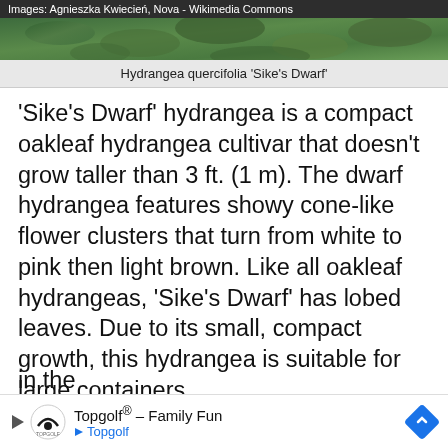Images: Agnieszka Kwiecień, Nova - Wikimedia Commons
[Figure (photo): Photo of Hydrangea quercifolia 'Sike's Dwarf' plant with green foliage]
Hydrangea quercifolia 'Sike's Dwarf'
'Sike's Dwarf' hydrangea is a compact oakleaf hydrangea cultivar that doesn't grow taller than 3 ft. (1 m). The dwarf hydrangea features showy cone-like flower clusters that turn from white to pink then light brown. Like all oakleaf hydrangeas, 'Sike's Dwarf' has lobed leaves. Due to its small, compact growth, this hydrangea is suitable for large containers.
Hydrangea leaves: 'Sike's Dwarf' oakleaf hydrangea leaves are oak-like, lobed leaves measuring up to 5" (13 cm) long. The green leaves turn warm shades of bronze and deep red in the...
[Figure (other): Topgolf advertisement banner - Topgolf® - Family Fun]